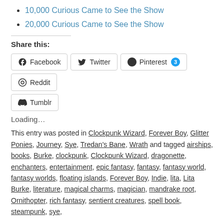10,000 Curious Came to See the Show
20,000 Curious Came to See the Show
Share this:
Facebook  Twitter  Pinterest 3  Reddit  Tumblr
Loading...
This entry was posted in Clockpunk Wizard, Forever Boy, Glitter Ponies, Journey, Sye, Tredan's Bane, Wrath and tagged airships, books, Burke, clockpunk, Clockpunk Wizard, dragonette, enchanters, entertainment, epic fantasy, fantasy, fantasy world, fantasy worlds, floating islands, Forever Boy, Indie, lita, Lita Burke, literature, magical charms, magician, mandrake root, Ornithopter, rich fantasy, sentient creatures, spell book, steampunk, sye, ...